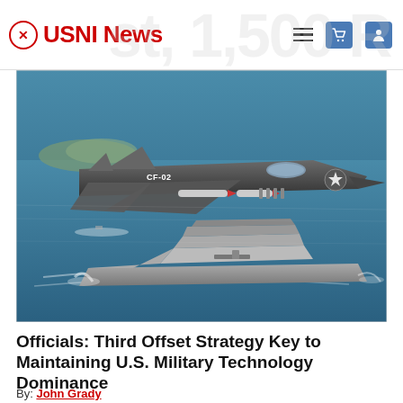USNI News
[Figure (photo): Aerial photograph of an F-35C fighter jet (marked CF-02) flying over the ocean with weapons visible underneath, and a Zumwalt-class destroyer ship visible below on the water surface.]
Officials: Third Offset Strategy Key to Maintaining U.S. Military Technology Dominance
By: John Grady